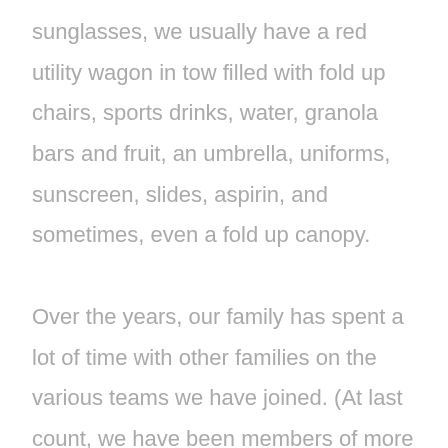sunglasses, we usually have a red utility wagon in tow filled with fold up chairs, sports drinks, water, granola bars and fruit, an umbrella, uniforms, sunscreen, slides, aspirin, and sometimes, even a fold up canopy.

Over the years, our family has spent a lot of time with other families on the various teams we have joined. (At last count, we have been members of more than 15 soccer teams!) As we watch our kids practice, the parents catch up with each other, share stories, and tell jokes on the sidelines. We've eaten many meals